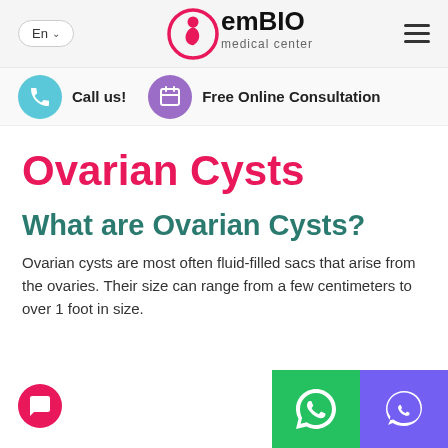[Figure (logo): emBIO medical center logo with red fetal figure in circle and text emBIO medical center]
Call us!
Free Online Consultation
Ovarian Cysts
What are Ovarian Cysts?
Ovarian cysts are most often fluid-filled sacs that arise from the ovaries. Their size can range from a few centimeters to over 1 foot in size.